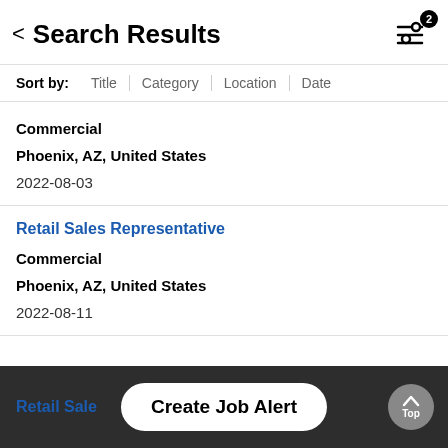Search Results
Sort by: Title | Category | Location | Date
Commercial
Phoenix, AZ, United States
2022-08-03
Retail Sales Representative
Commercial
Phoenix, AZ, United States
2022-08-11
Retail Sale...
Create Job Alert